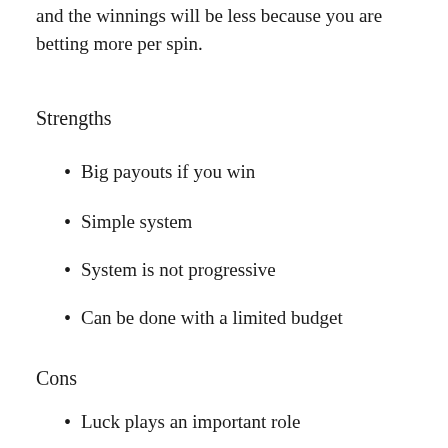and the winnings will be less because you are betting more per spin.
Strengths
Big payouts if you win
Simple system
System is not progressive
Can be done with a limited budget
Cons
Luck plays an important role
Chance of getting hit is small